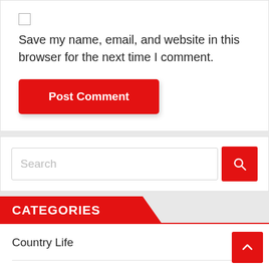Save my name, email, and website in this browser for the next time I comment.
Post Comment
Search
CATEGORIES
Country Life
Daily Mail